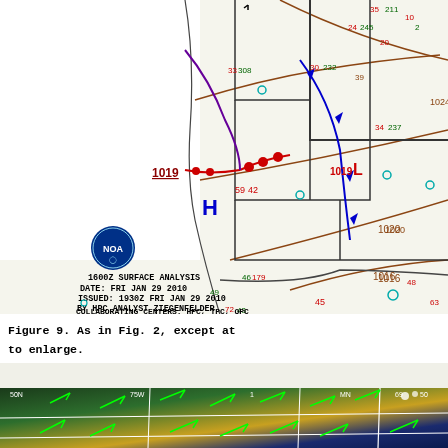[Figure (map): 1600Z Surface Analysis map for FRI JAN 29 2010 showing weather station data, isobars, fronts (cold, warm, occluded), high (H) and low (L) pressure centers over western US. Station data includes temperature, dew point, wind, and pressure values. NOAA logo visible. Text overlay: '1600Z SURFACE ANALYSIS / DATE: FRI JAN 29 2010 / ISSUED: 1930Z FRI JAN 29 2010 / BY HPC ANALYST ZIEGENFELDER / COLLABORATING CENTERS: HPC, TPC, OPC']
Figure 9.  As in Fig. 2, except at to enlarge.
[Figure (map): Satellite or model analysis map showing wind vectors (green arrows) over a color-shaded background representing a meteorological variable over the central/western United States. State boundaries shown in white.]